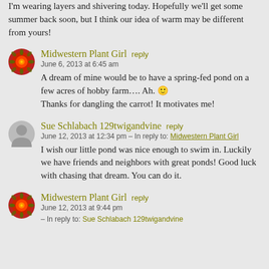I'm wearing layers and shivering today. Hopefully we'll get some summer back soon, but I think our idea of warm may be different from yours!
Midwestern Plant Girl reply
June 6, 2013 at 6:45 am
A dream of mine would be to have a spring-fed pond on a few acres of hobby farm…. Ah. 🙂 Thanks for dangling the carrot! It motivates me!
Sue Schlabach 129twigandvine reply
June 12, 2013 at 12:34 pm – In reply to: Midwestern Plant Girl
I wish our little pond was nice enough to swim in. Luckily we have friends and neighbors with great ponds! Good luck with chasing that dream. You can do it.
Midwestern Plant Girl reply
June 12, 2013 at 9:44 pm
– In reply to: Sue Schlabach 129twigandvine